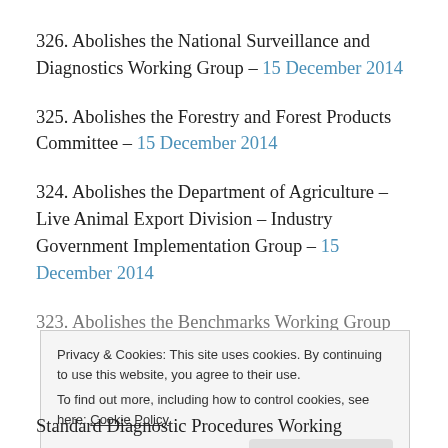326. Abolishes the National Surveillance and Diagnostics Working Group – 15 December 2014
325. Abolishes the Forestry and Forest Products Committee – 15 December 2014
324. Abolishes the Department of Agriculture – Live Animal Export Division – Industry Government Implementation Group – 15 December 2014
323. Abolishes the Benchmarks Working Group
Privacy & Cookies: This site uses cookies. By continuing to use this website, you agree to their use. To find out more, including how to control cookies, see here: Cookie Policy
Standard Diagnostic Procedures Working